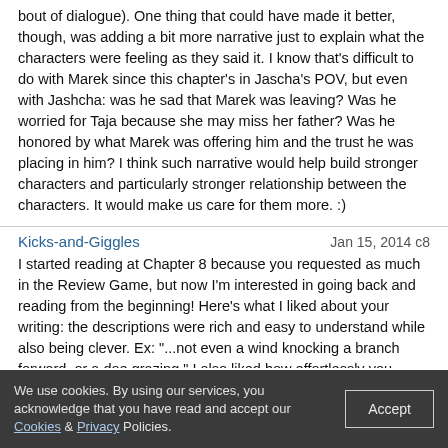bout of dialogue). One thing that could have made it better, though, was adding a bit more narrative just to explain what the characters were feeling as they said it. I know that's difficult to do with Marek since this chapter's in Jascha's POV, but even with Jashcha: was he sad that Marek was leaving? Was he worried for Taja because she may miss her father? Was he honored by what Marek was offering him and the trust he was placing in him? I think such narrative would help build stronger characters and particularly stronger relationship between the characters. It would make us care for them more. :)
Kicks-and-Giggles
Jan 15, 2014 c8
I started reading at Chapter 8 because you requested as much in the Review Game, but now I'm interested in going back and reading from the beginning! Here's what I liked about your writing: the descriptions were rich and easy to understand while also being clever. Ex: "...not even a wind knocking a branch forward, or a doe grazing." I also liked how effortlessly you described Wyll's feelings towards Taja-I didn't have to read any of the previous chapters to know there is tension between these two characters. Finally, I liked how strongly Jascha's character, his brothers, and his relationship with Taja's father was described in just this one chapter. I get the sense that he's used to being a fighter/warrior of sorts, is that right?
What I felt you could improve on: there was a very abrupt change in POV before and after the ballad. Before, we were seeing the scene through Wyll's eyes and we switch to Taja's afterwards. I don't really have suggestions on how to improve that because, frankly, I do that a lot in my own writing and I can't figure out how to stop. There was also some
We use cookies. By using our services, you acknowledge that you have read and accept our Cookies & Privacy Policies.